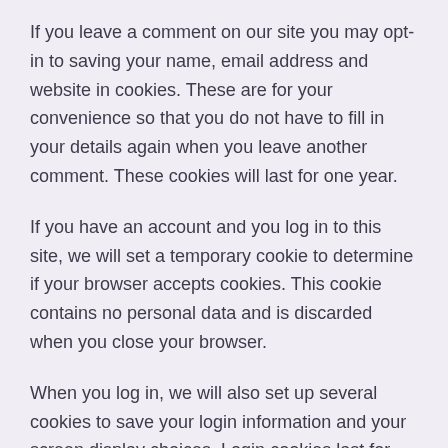If you leave a comment on our site you may opt-in to saving your name, email address and website in cookies. These are for your convenience so that you do not have to fill in your details again when you leave another comment. These cookies will last for one year.
If you have an account and you log in to this site, we will set a temporary cookie to determine if your browser accepts cookies. This cookie contains no personal data and is discarded when you close your browser.
When you log in, we will also set up several cookies to save your login information and your screen display choices. Login cookies last for two days, and screen options cookies last for a year. If you select “Remember Me”, your login will persist for two weeks. If you log out of your account, the login cookies will be removed.